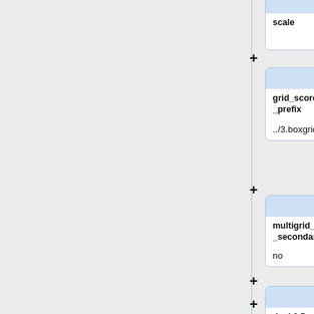[Figure (other): Partial view of a node/card diagram showing API parameter cards. Each card has a blue header area and shows a parameter name and value. Cards shown: scale (value: 1), grid_score_grid_prefix (value: ../3.boxgrid/grid), multigrid_score_secondary (value: no), dock3.5_score_secondary (value: no), continuous_sco re_secondary (partially visible). Plus signs between cards indicate expandable/connectable nodes.]